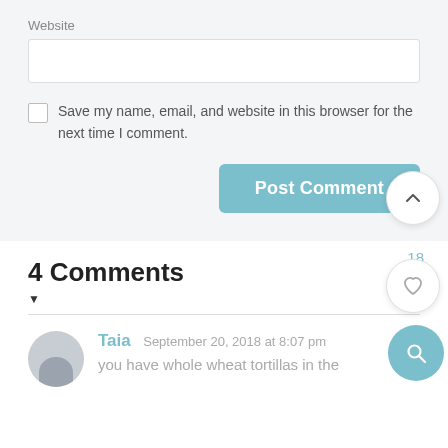Website
Save my name, email, and website in this browser for the next time I comment.
Post Comment
18
4 Comments
[Figure (screenshot): Taia comment with avatar and text: 'you have whole wheat tortillas in the']
Taia  September 20, 2018 at 8:07 pm
you have whole wheat tortillas in the